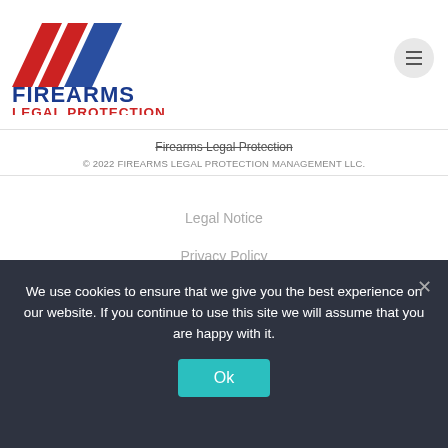[Figure (logo): Firearms Legal Protection logo with red and blue diagonal stripes and bold text 'FIREARMS LEGAL PROTECTION']
Firearms Legal Protection
© 2022 FIREARMS LEGAL PROTECTION MANAGEMENT LLC.
Legal Notice
Privacy Policy
Partner Login
We use cookies to ensure that we give you the best experience on our website. If you continue to use this site we will assume that you are happy with it.